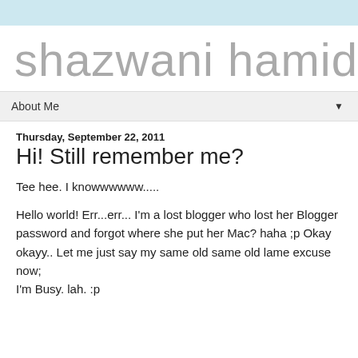shazwani hamid
About Me ▼
Thursday, September 22, 2011
Hi! Still remember me?
Tee hee. I knowwwwww.....
Hello world! Err...err... I'm a lost blogger who lost her Blogger password and forgot where she put her Mac? haha ;p Okay okayy.. Let me just say my same old same old lame excuse now;
I'm Busy. lah. :p